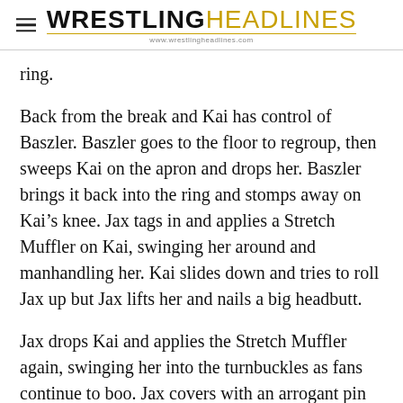WRESTLINGHEADLINES www.wrestlingheadlines.com
ring.
Back from the break and Kai has control of Baszler. Baszler goes to the floor to regroup, then sweeps Kai on the apron and drops her. Baszler brings it back into the ring and stomps away on Kai's knee. Jax tags in and applies a Stretch Muffler on Kai, swinging her around and manhandling her. Kai slides down and tries to roll Jax up but Jax lifts her and nails a big headbutt.
Jax drops Kai and applies the Stretch Muffler again, swinging her into the turnbuckles as fans continue to boo. Jax covers with an arrogant pin for a 2 count. Kai leaps off the second rope but Jax catches her. Baszler